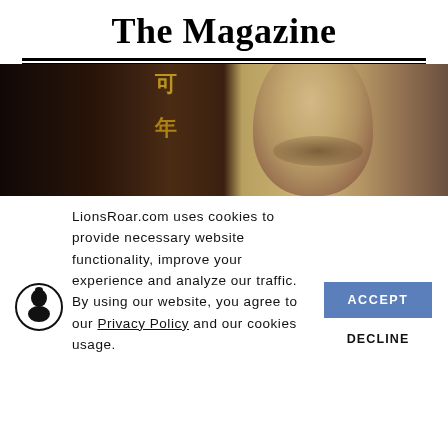The Magazine
[Figure (photo): Close-up photo of a bald man's face and head, with Chinese characters visible on a dark wooden background to the left.]
LionsRoar.com uses cookies to provide necessary website functionality, improve your experience and analyze our traffic. By using our website, you agree to our Privacy Policy and our cookies usage.
ACCEPT
DECLINE